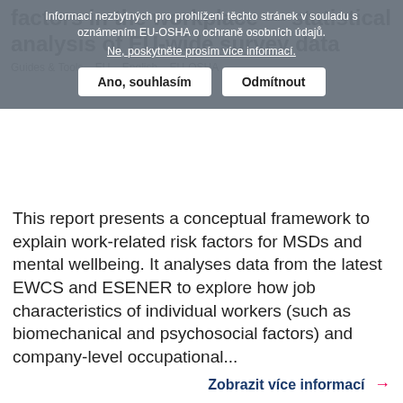factors in the workplace — statistical analysis of EU-wide survey data
[Figure (screenshot): Cookie consent overlay banner in Czech language, with text 'Informací nezbytných pro prohlížení těchto stránek v souladu s oznámením EU-OSHA o ochraně osobních údajů.' and a link 'Ne, poskytněte prosím více informací.' and two buttons: 'Ano, souhlasím' and 'Odmítnout'.]
This report presents a conceptual framework to explain work-related risk factors for MSDs and mental wellbeing. It analyses data from the latest EWCS and ESENER to explore how job characteristics of individual workers (such as biomechanical and psychosocial factors) and company-level occupational...
Zobrazit více informací →
Austria: AUVAsicher - Support scheme for MSEs
Case study
Rakousko
English
EU OSHA